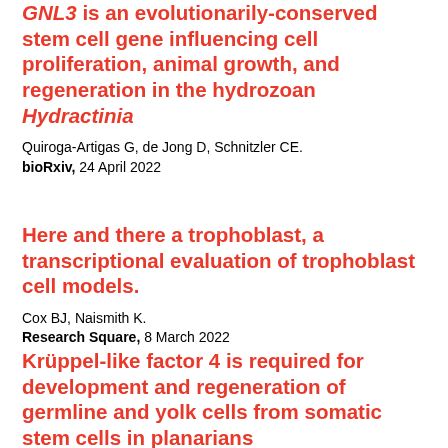<i>GNL3</i> is an evolutionarily-conserved stem cell gene influencing cell proliferation, animal growth, and regeneration in the hydrozoan <i>Hydractinia</i>
Quiroga-Artigas G, de Jong D, Schnitzler CE.
bioRxiv, 24 April 2022
Here and there a trophoblast, a transcriptional evaluation of trophoblast cell models.
Cox BJ, Naismith K.
Research Square, 8 March 2022
Krüppel-like factor 4 is required for development and regeneration of germline and yolk cells from somatic stem cells in planarians